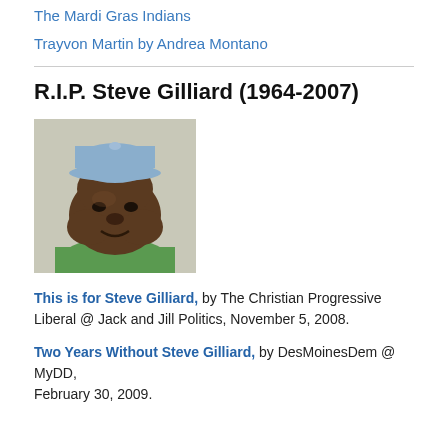The Mardi Gras Indians
Trayvon Martin by Andrea Montano
R.I.P. Steve Gilliard (1964-2007)
[Figure (photo): Black and white photo of Steve Gilliard, a heavy-set Black man wearing a light blue baseball cap and green sweater, photographed outdoors against a light wall.]
This is for Steve Gilliard, by The Christian Progressive Liberal @ Jack and Jill Politics, November 5, 2008.
Two Years Without Steve Gilliard, by DesMoinesDem @ MyDD, February 30, 2009.